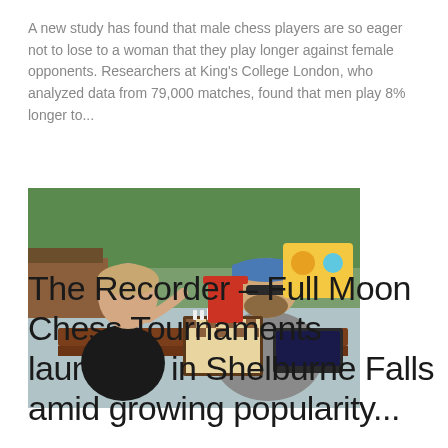A new study has found that male chess players are so eager not to lose to a woman that they play longer against female opponents. Researchers at King's College London, who analyzed data from 79,000 matches, found that men play 8% longer to...
[Figure (photo): Two people playing chess outdoors at a wooden picnic table. A younger person on the left with light hair and a black shirt, and a bearded man on the right wearing a blue cap and grey t-shirt. Chess board and pieces visible on the table. Green trees and outdoor furniture in the background.]
The Recorder – Full Moon Chess Tournaments launched in Shelburne Falls amid growing popularity...